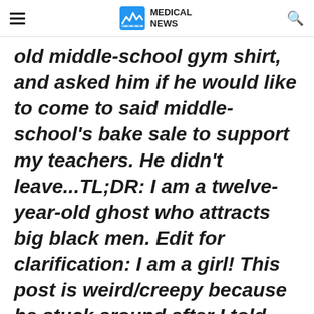MEDICAL NEWS
old middle-school gym shirt, and asked him if he would like to come to said middle-school's bake sale to support my teachers. He didn't leave...TL;DR: I am a twelve-year-old ghost who attracts big black men. Edit for clarification: I am a girl! This post is weird/creepy because he stuck around after I told him I was a middle schooler. Also, I can use
Advertisement
[Figure (screenshot): BitLife - Life Simulator advertisement banner with red background image on left and text/install button on right]